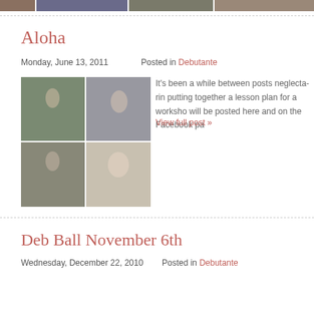[Figure (photo): Partial top strip showing a wedding/debutante photo collage, cropped from top]
Aloha
Monday, June 13, 2011    Posted in Debutante
[Figure (photo): Grid of four wedding/debutante photos showing couples and young women in white dresses]
It's been a while between posts neglecta-rin... putting together a lesson plan for a worksho... will be posted here and on the Facebook pa...
View full post »
Deb Ball November 6th
Wednesday, December 22, 2010    Posted in Debutante